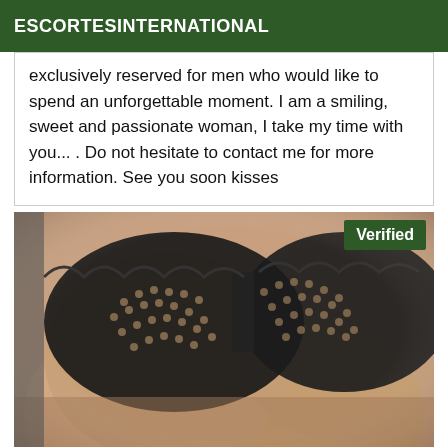ESCORTESINTERNATIONAL
exclusively reserved for men who would like to spend an unforgettable moment. I am a smiling, sweet and passionate woman, I take my time with you... . Do not hesitate to contact me for more information. See you soon kisses
[Figure (photo): Close-up photo of a person wearing a black lace bra, with a green 'Verified' badge overlay in the top-right corner.]